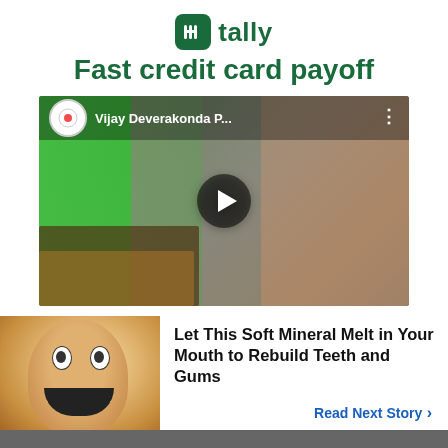[Figure (logo): Tally app logo with green rounded square icon and 'tally' wordmark in dark green]
Fast credit card payoff
[Figure (screenshot): YouTube video thumbnail showing Vijay Deverakonda P... with people at a street food stall, green screen background visible, play button overlay]
[Figure (photo): Man with wide open mouth showing teeth and wide eyes, close-up face photo]
Let This Soft Mineral Melt in Your Mouth to Rebuild Teeth and Gums
Read Next Story